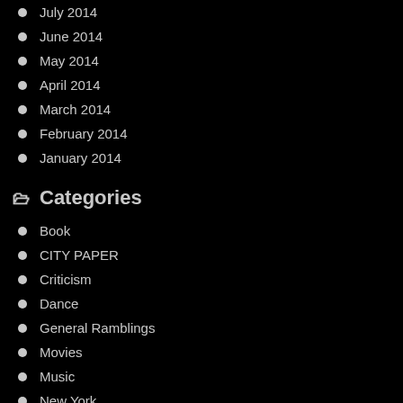July 2014
June 2014
May 2014
April 2014
March 2014
February 2014
January 2014
Categories
Book
CITY PAPER
Criticism
Dance
General Ramblings
Movies
Music
New York
PARTERRE BOX
Philadelphia